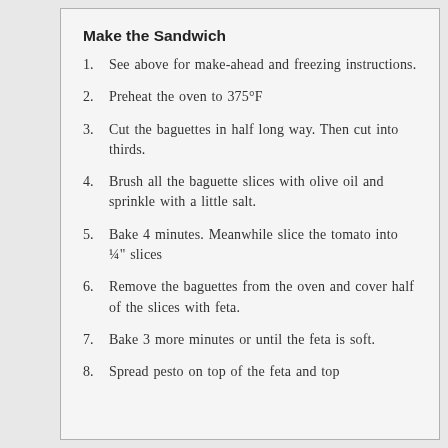Make the Sandwich
1. See above for make-ahead and freezing instructions.
2. Preheat the oven to 375°F
3. Cut the baguettes in half long way. Then cut into thirds.
4. Brush all the baguette slices with olive oil and sprinkle with a little salt.
5. Bake 4 minutes. Meanwhile slice the tomato into ¼" slices
6. Remove the baguettes from the oven and cover half of the slices with feta.
7. Bake 3 more minutes or until the feta is soft.
8. Spread pesto on top of the feta and top